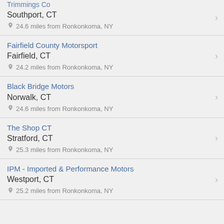Southport, CT
24.6 miles from Ronkonkoma, NY
Fairfield County Motorsport
Fairfield, CT
24.2 miles from Ronkonkoma, NY
Black Bridge Motors
Norwalk, CT
24.6 miles from Ronkonkoma, NY
The Shop CT
Stratford, CT
25.3 miles from Ronkonkoma, NY
IPM - Imported & Performance Motors
Westport, CT
25.2 miles from Ronkonkoma, NY